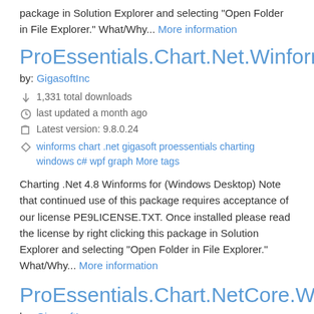package in Solution Explorer and selecting "Open Folder in File Explorer." What/Why... More information
ProEssentials.Chart.Net.Winforms
by: GigasoftInc
1,331 total downloads
last updated a month ago
Latest version: 9.8.0.24
winforms chart .net gigasoft proessentials charting windows c# wpf graph More tags
Charting .Net 4.8 Winforms for (Windows Desktop) Note that continued use of this package requires acceptance of our license PE9LICENSE.TXT. Once installed please read the license by right clicking this package in Solution Explorer and selecting "Open Folder in File Explorer." What/Why... More information
ProEssentials.Chart.NetCore.Wpf
by: GigasoftInc